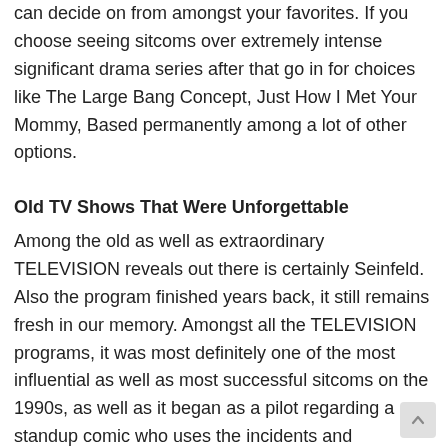can decide on from amongst your favorites. If you choose seeing sitcoms over extremely intense significant drama series after that go in for choices like The Large Bang Concept, Just How I Met Your Mommy, Based permanently among a lot of other options.
Old TV Shows That Were Unforgettable
Among the old as well as extraordinary TELEVISION reveals out there is certainly Seinfeld. Also the program finished years back, it still remains fresh in our memory. Amongst all the TELEVISION programs, it was most definitely one of the most influential as well as most successful sitcoms on the 1990s, as well as it began as a pilot regarding a standup comic who uses the incidents and characters of his own life, for the basis of his product.